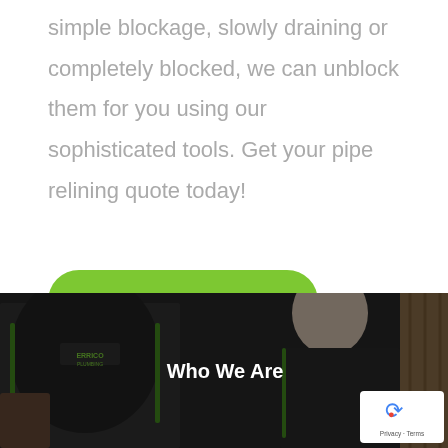simple blockage, slowly draining or completely blocked, we can unblock them for you using our sophisticated tools. Get your pipe relining quote today!
Get a Quote
[Figure (photo): Dark background photo of two workers in dark uniforms with green accents, one wearing a shirt with a logo. A section header 'Who We Are' appears overlaid on the image. A reCAPTCHA badge appears in the bottom-right corner.]